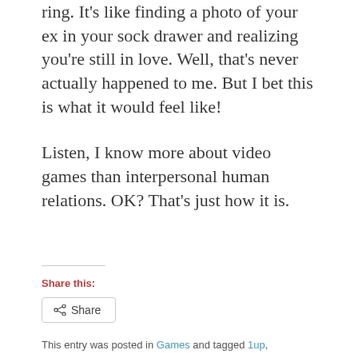ring. It's like finding a photo of your ex in your sock drawer and realizing you're still in love. Well, that's never actually happened to me. But I bet this is what it would feel like!
Listen, I know more about video games than interpersonal human relations. OK? That's just how it is.
Share this:
Share
This entry was posted in Games and tagged 1up, castlevania. Bookmark the permalink.